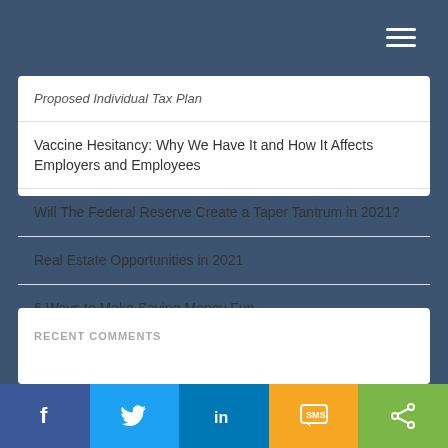Proposed Individual Tax Plan
Vaccine Hesitancy: Why We Have It and How It Affects Employers and Employees
Will The Federal Reserve Create a Taper Tantrum in 2021?
Real Estate Opportunities in 2021
6 Ways to Make Saving Money Fun
RECENT COMMENTS